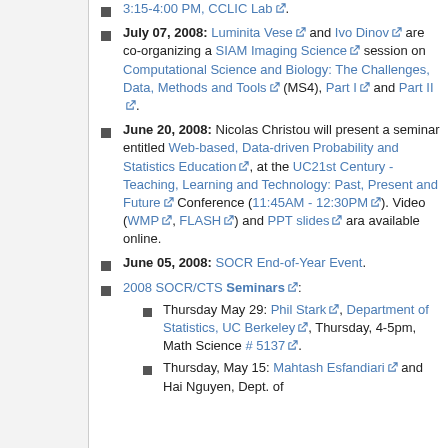July 07, 2008: Luminita Vese and Ivo Dinov are co-organizing a SIAM Imaging Science session on Computational Science and Biology: The Challenges, Data, Methods and Tools (MS4), Part I and Part II.
June 20, 2008: Nicolas Christou will present a seminar entitled Web-based, Data-driven Probability and Statistics Education, at the UC21st Century - Teaching, Learning and Technology: Past, Present and Future Conference (11:45AM - 12:30PM). Video (WMP, FLASH) and PPT slides ara available online.
June 05, 2008: SOCR End-of-Year Event.
2008 SOCR/CTS Seminars:
Thursday May 29: Phil Stark, Department of Statistics, UC Berkeley, Thursday, 4-5pm, Math Science # 5137.
Thursday, May 15: Mahtash Esfandiari and Hai Nguyen, Dept. of